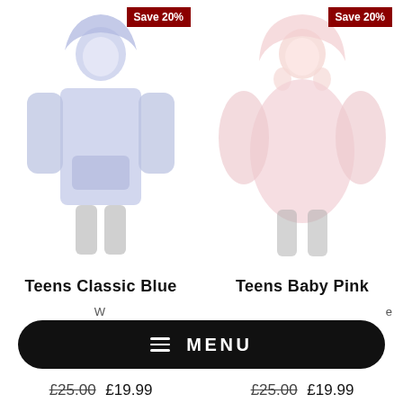[Figure (photo): Person wearing a blue oversized hoodie blanket sweatshirt, shown from front. A dark red 'Save 20%' badge is in the top right corner of the product card.]
[Figure (photo): Person wearing a baby pink oversized hoodie/fleece blanket jacket, shown from front. A dark red 'Save 20%' badge is in the top right corner of the product card.]
Teens Classic Blue
Teens Baby Pink
W... e
£25.00  £19.99
£25.00  £19.99
MENU